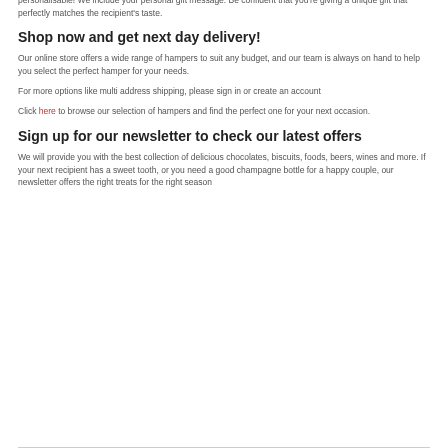appreciation, celebrate a special occasion, or simply say thank you. And best of all, your hamper is personalisable! We include your personal gift message. Be confident that you're giving a unique gift that perfectly matches the recipient's taste.
Shop now and get next day delivery!
Our online store offers a wide range of hampers to suit any budget, and our team is always on hand to help you select the perfect hamper for your needs.
For more options like multi address shipping, please sign in or create an account
Click here to browse our selection of hampers and find the perfect one for your next occasion.
Sign up for our newsletter to check our latest offers
We will provide you with the best collection of delicious chocolates, biscuits, foods, beers, wines and more. If your next recipient has a sweet tooth, or you need a good champagne bottle for a happy couple, our newsletter offers the right treats for the right season